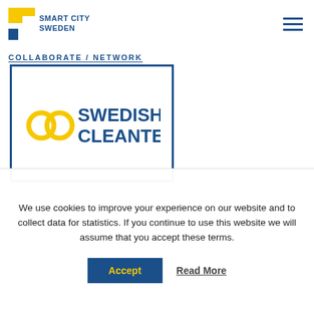Smart City Sweden
Collaborate / network
[Figure (logo): Swedish Cleantech logo inside a blue-bordered rectangle. Yellow interlocked circles icon on the left, bold blue text 'SWEDISH CLEANTECH' on the right.]
We use cookies to improve your experience on our website and to collect data for statistics. If you continue to use this website we will assume that you accept these terms.
Accept   Read More